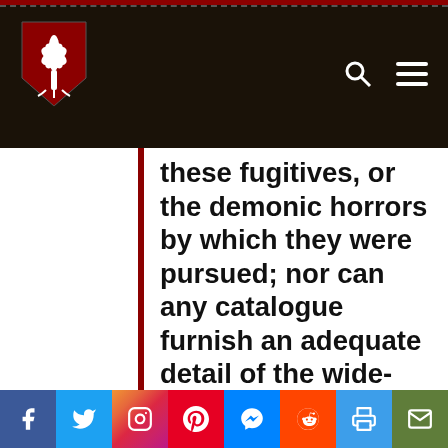[Figure (logo): University shield logo with white palmetto tree on red background, on dark header]
these fugitives, or the demonic horrors by which they were pursued; nor can any catalogue furnish an adequate detail of the wide-spread destruction of homes and property. Granaries were emptied, and where the grain was not carried off, it was strewn to waste under the feet of their cavalry or
[Figure (infographic): Social sharing bar with Facebook, Twitter, Instagram, Pinterest, Messenger, Reddit, Print, and Email buttons]